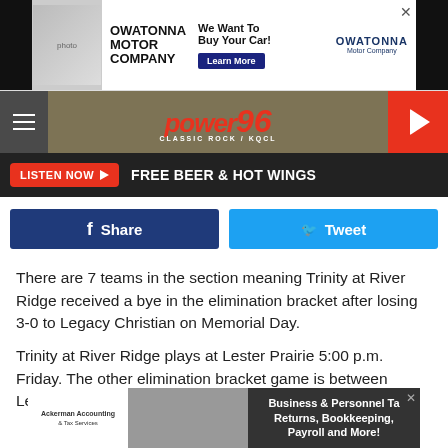[Figure (screenshot): Owatonna Motor Company advertisement banner: 'We Want To Buy Your Car! Learn More']
[Figure (logo): Power 96 Classic Rock KQCL radio station logo and navigation bar]
LISTEN NOW  FREE BEER & HOT WINGS
[Figure (screenshot): Facebook Share and Twitter Tweet social sharing buttons]
There are 7 teams in the section meaning Trinity at River Ridge received a bye in the elimination bracket after losing 3-0 to Legacy Christian on Memorial Day.
Trinity at River Ridge plays at Lester Prairie 5:00 p.m. Friday. The other elimination bracket game is between Legacy
[Figure (screenshot): Ackerman Accounting & Tax Services advertisement: Business & Personnel Tax Returns, Bookkeeping, Payroll and More!]